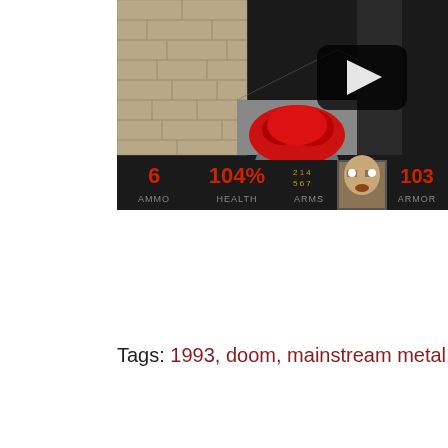[Figure (screenshot): Screenshot of the classic video game DOOM (1993), showing a first-person perspective corridor scene with the Doom marine's HUD at the bottom displaying AMMO: 6, HEALTH: 104%, ARMS panel with numbers 2,1,4,5,6,7, a face portrait, and ARMOR: 103+. A play button overlay is visible in the upper right. The scene shows brick and dark corridor walls with a red-clad figure in the foreground.]
Tags: 1993, doom, mainstream metal,